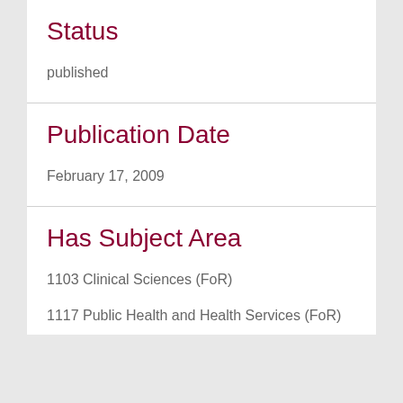Status
published
Publication Date
February 17, 2009
Has Subject Area
1103 Clinical Sciences (FoR)
1117 Public Health and Health Services (FoR)